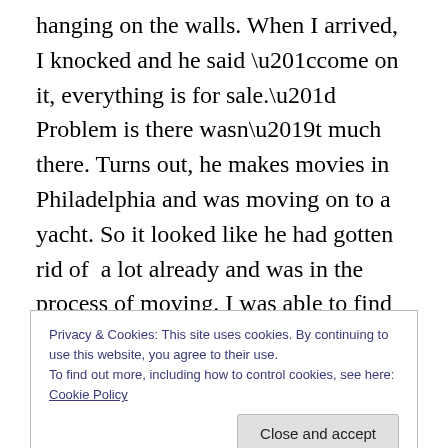hanging on the walls. When I arrived, I knocked and he said “come on it, everything is for sale.” Problem is there wasn’t much there. Turns out, he makes movies in Philadelphia and was moving on to a yacht. So it looked like he had gotten rid of a lot already and was in the process of moving. I was able to find some cool things though from his office. A lot of the things I wanted he told me weren’t for sale. Which when you tell me everything is for sale, I make a pile and then you tell me well not this and that and that. That is frustrating for me, but it is what it is. So these are the items I snagged from this moving sale
Privacy & Cookies: This site uses cookies. By continuing to use this website, you agree to their use.
To find out more, including how to control cookies, see here: Cookie Policy
Close and accept
This is an old aluminum movie reel where he wrapped